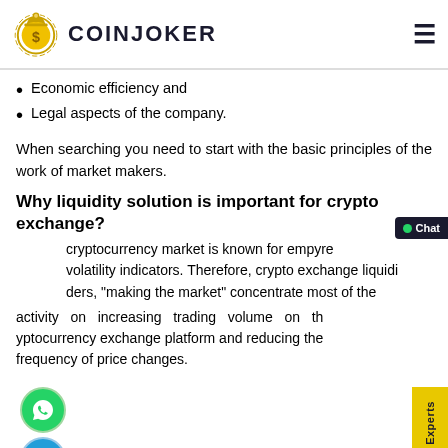COINJOKER
Economic efficiency and
Legal aspects of the company.
When searching you need to start with the basic principles of the work of market makers.
Why liquidity solution is important for crypto exchange?
The cryptocurrency market is known for empyre volatility indicators. Therefore, crypto exchange liquidity providers, “making the market” concentrate most of the activity on increasing trading volume on the cryptocurrency exchange platform and reducing the frequency of price changes.
[Figure (other): Social media icons: WhatsApp (green), Telegram (blue), Skype (blue/white) arranged vertically on the left side]
[Figure (other): Yellow vertical CTA sidebar with text 'Talk To Our Experts' and dark chat button at bottom right]